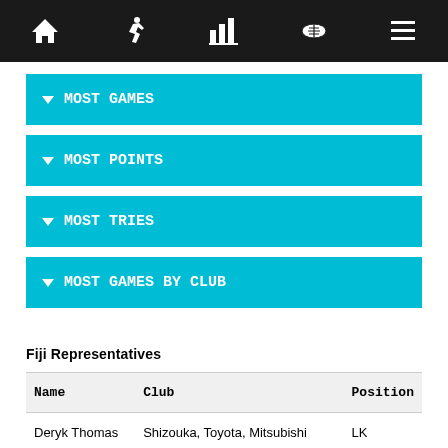Navigation bar with icons: home, player, stats, ball, menu
MOST GAMES
MOST POINTS
MOST TRIES
MOST GAMES BY CLUB
Fiji Representatives
| Name | Club | Position |
| --- | --- | --- |
| Deryk Thomas | Shizouka, Toyota, Mitsubishi | LK |
| Patrick Osborne | Kubota Spears | WG |